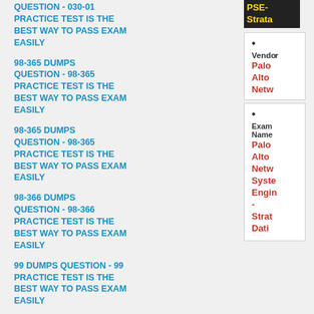QUESTION - 030-01 PRACTICE TEST IS THE BEST WAY TO PASS EXAM EASILY
98-365 DUMPS QUESTION - 98-365 PRACTICE TEST IS THE BEST WAY TO PASS EXAM EASILY
98-365 DUMPS QUESTION - 98-365 PRACTICE TEST IS THE BEST WAY TO PASS EXAM EASILY
98-366 DUMPS QUESTION - 98-366 PRACTICE TEST IS THE BEST WAY TO PASS EXAM EASILY
99 DUMPS QUESTION - 99 PRACTICE TEST IS THE BEST WAY TO PASS EXAM EASILY
99% PASSING GUARANTEE WITH
[Figure (other): PSE-Strata banner in black background with yellow text]
Vendor: Palo Alto Netw
Exam Name: Palo Alto Netw Syste Engin - Strat Data